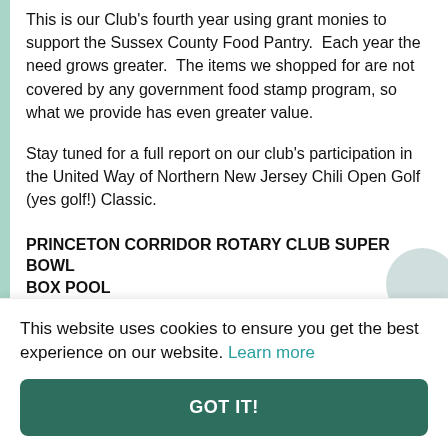This is our Club's fourth year using grant monies to support the Sussex County Food Pantry. Each year the need grows greater. The items we shopped for are not covered by any government food stamp program, so what we provide has even greater value.
Stay tuned for a full report on our club's participation in the United Way of Northern New Jersey Chili Open Golf (yes golf!) Classic.
PRINCETON CORRIDOR ROTARY CLUB SUPER BOWL BOX POOL
Submitted by Mike Pine (mike.pine22@gmail.com)
Princeton Corridor Rotary Club sto...
This website uses cookies to ensure you get the best experience on our website. Learn more
GOT IT!